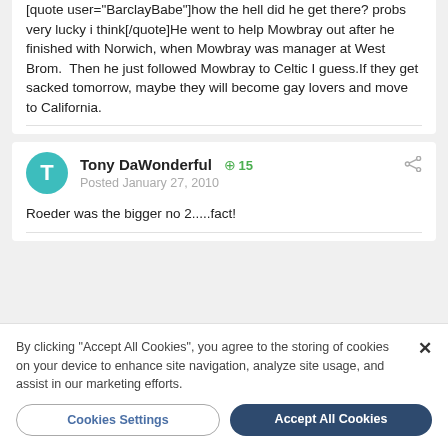[quote user="BarclayBabe"]how the hell did he get there? probs very lucky i think[/quote]He went to help Mowbray out after he finished with Norwich, when Mowbray was manager at West Brom.  Then he just followed Mowbray to Celtic I guess.If they get sacked tomorrow, maybe they will become gay lovers and move to California.
Tony DaWonderful +15 Posted January 27, 2010
Roeder was the bigger no 2.....fact!
By clicking "Accept All Cookies", you agree to the storing of cookies on your device to enhance site navigation, analyze site usage, and assist in our marketing efforts.
Cookies Settings
Accept All Cookies